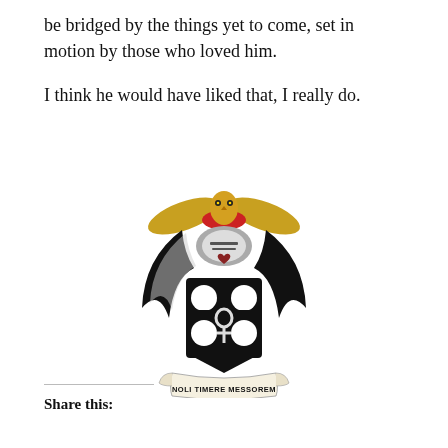be bridged by the things yet to come, set in motion by those who loved him.

I think he would have liked that, I really do.
[Figure (illustration): Coat of arms with a golden owl atop a red helm with wings, black mantling, a shield featuring a black cross with an ankh and four white roundels on a black field, and a scroll banner reading 'NOLI TIMERE MESSOREM']
Share this: